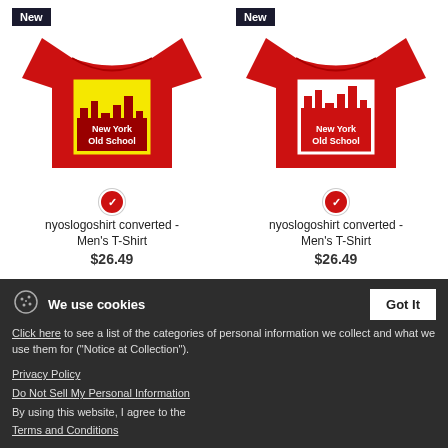[Figure (photo): Red men's t-shirt with New York Old School logo on yellow/red background, labeled New (left product)]
nyoslogoshirt converted - Men's T-Shirt
$26.49
[Figure (photo): Red men's t-shirt with New York Old School logo on white background, labeled New (right product)]
nyoslogoshirt converted - Men's T-Shirt
$26.49
We use cookies
Got It
Click here to see a list of the categories of personal information we collect and what we use them for ("Notice at Collection").
Privacy Policy
Do Not Sell My Personal Information
By using this website, I agree to the Terms and Conditions